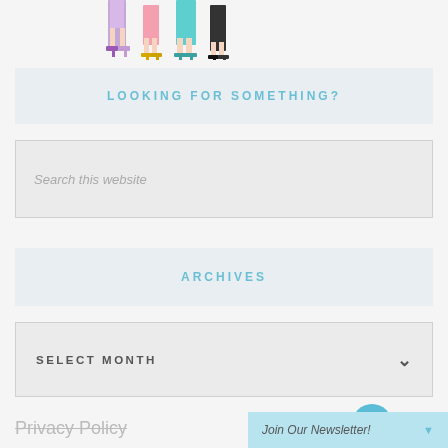[Figure (illustration): Cropped illustration showing the lower legs and high-heeled shoes of several women standing in a row, with colorful outfits visible at the very top]
LOOKING FOR SOMETHING?
Search this website
ARCHIVES
SELECT MONTH
Privacy Policy
Join Our Newsletter!